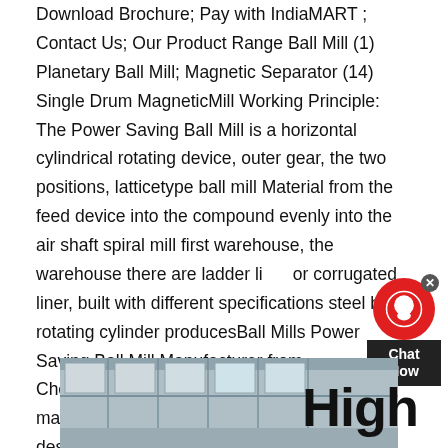Download Brochure; Pay with IndiaMART ; Contact Us; Our Product Range Ball Mill (1) Planetary Ball Mill; Magnetic Separator (14) Single Drum MagneticMill Working Principle: The Power Saving Ball Mill is a horizontal cylindrical rotating device, outer gear, the two positions, latticetype ball mill Material from the feed device into the compound evenly into the air shaft spiral mill first warehouse, the warehouse there are ladder liner or corrugated liner, built with different specifications steel ball rotating cylinder producesBall Mills Power Saving Ball Mill Manufacturer from Chennaicontinue ball mill for slag crusher manufacturers Shanghai are experts in the design and manufacture crushing equipment such as crushing, conveying, attritor ball mill manufacture in chennai crushing and grindingball mill slag crusher manufacturer in chennai
[Figure (photo): Interior of an industrial building or factory, showing large windows and structural elements.]
High